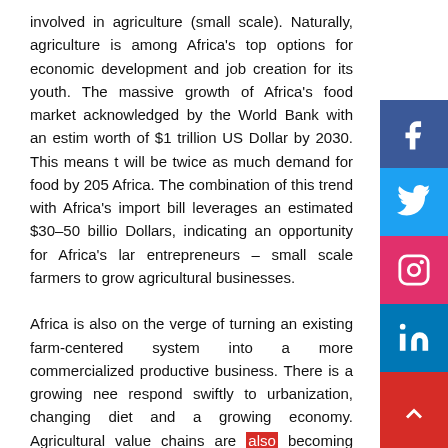involved in agriculture (small scale). Naturally, agriculture is among Africa's top options for economic development and job creation for its youth. The massive growth of Africa's food market acknowledged by the World Bank with an estimated worth of $1 trillion US Dollar by 2030. This means there will be twice as much demand for food by 2050 in Africa. The combination of this trend with Africa's food import bill leverages an estimated $30–50 billion US Dollars, indicating an opportunity for Africa's large entrepreneurs – small scale farmers to grow their agricultural businesses.

Africa is also on the verge of turning an existing farm-centered system into a more commercialized and productive business. There is a growing need to respond swiftly to urbanization, changing diet and a growing economy. Agricultural value chains are also becoming more urbanized and consumer-driven with
[Figure (infographic): Social media share buttons: Facebook (dark blue), Twitter (light blue), Instagram (pink/magenta), LinkedIn (dark blue), YouTube (red), and a share/up arrow button at bottom right.]